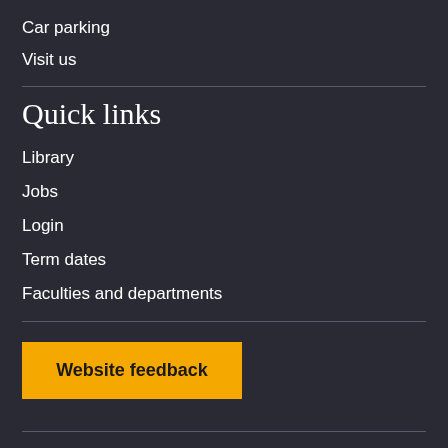Car parking
Visit us
Quick links
Library
Jobs
Login
Term dates
Faculties and departments
Website feedback